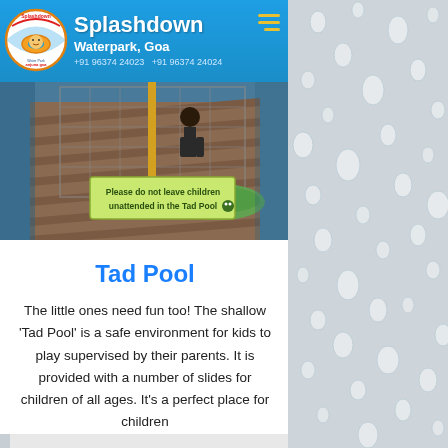[Figure (logo): Splashdown Water Park Anjuna Goa circular logo with cartoon character on inflatable ring]
Splashdown Waterpark, Goa +91 96374 24023  +91 96374 24024
[Figure (photo): Pool area with wooden decking, metal railings, a child, green inflatable, and a sign reading 'Please do not leave children unattended in the Tad Pool']
Tad Pool
The little ones need fun too! The shallow 'Tad Pool' is a safe environment for kids to play supervised by their parents. It is provided with a number of slides for children of all ages. It's a perfect place for children